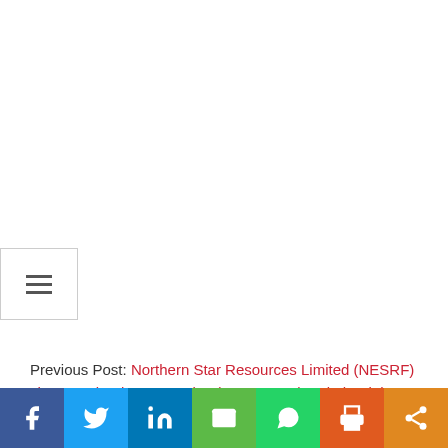[Figure (other): Hamburger/navigation menu button with three horizontal lines icon]
Previous Post: Northern Star Resources Limited (NESRF) shares gained 4.56% today (2020-03-05). Is it the right time to buy?
Next Post: BEST Inc. (BEST) shares gained 4.79% today (2020-
[Figure (infographic): Social sharing bar with icons: Facebook (blue), Twitter (light blue), LinkedIn (dark blue), Email (green), WhatsApp (green), Print (orange-red), Share (orange)]